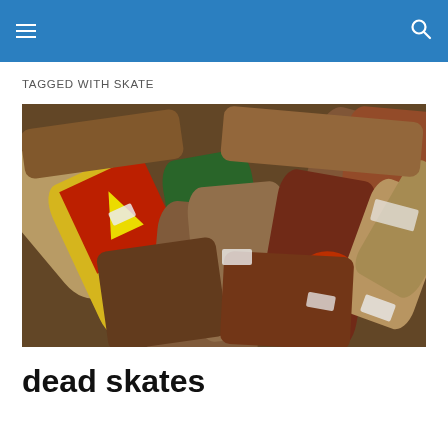TAGGED WITH SKATE
[Figure (photo): A large pile of used and worn skateboard decks stacked on top of each other, showing various graphics, grunge, and labels with handwritten notes.]
dead skates